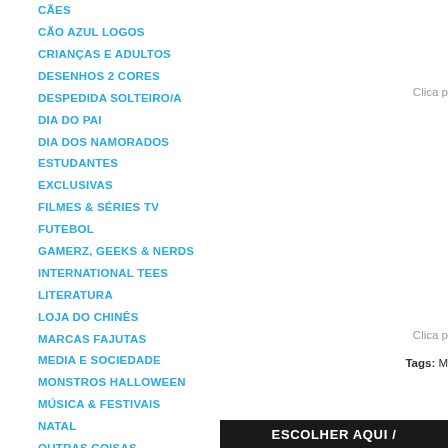CÃES
CÃO AZUL LOGOS
CRIANÇAS E ADULTOS
DESENHOS 2 CORES
DESPEDIDA SOLTEIRO/A
DIA DO PAI
DIA DOS NAMORADOS
ESTUDANTES
EXCLUSIVAS
FILMES & SÉRIES TV
FUTEBOL
GAMERZ, GEEKS & NERDS
INTERNATIONAL TEES
LITERATURA
LOJA DO CHINÊS
MARCAS FAJUTAS
MEDIA E SOCIEDADE
MONSTROS HALLOWEEN
MÚSICA & FESTIVAIS
NATAL
OUTRAS COISAS
POKER
SINAIS E SÍMBOLOS
SOBRE RODAS
SURF / SKATE / SKI
Clica p
Clica p
Tags: M
ESCOLHER AQUI /